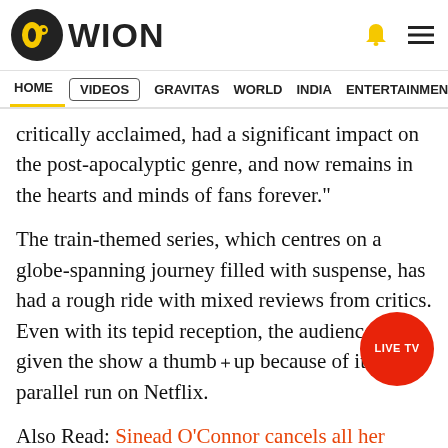WION
HOME VIDEOS GRAVITAS WORLD INDIA ENTERTAINMENT SPORTS
critically acclaimed, had a significant impact on the post-apocalyptic genre, and now remains in the hearts and minds of fans forever."
The train-themed series, which centres on a globe-spanning journey filled with suspense, has had a rough ride with mixed reviews from critics. Even with its tepid reception, the audience has given the show a thumb_up because of its parallel run on Netflix.
Also Read: Sinead O'Connor cancels all her shows months after her 17-year-old son's death